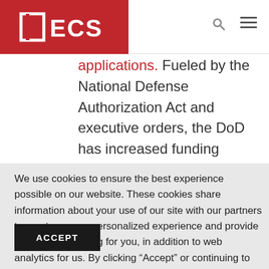[Figure (logo): ECS logo — white text on red background with stylized bracket icon]
applications. Fueled by the National Defense Authorization Act and executive orders, the DoD has increased funding research to develop this emerging
We use cookies to ensure the best experience possible on our website. These cookies share information about your use of our site with our partners to create a more personalized experience and provide relevant advertising for you, in addition to web analytics for us. By clicking “Accept” or continuing to navigate our site, you agree to our use of cookies. For more information please see our Privacy Policy.